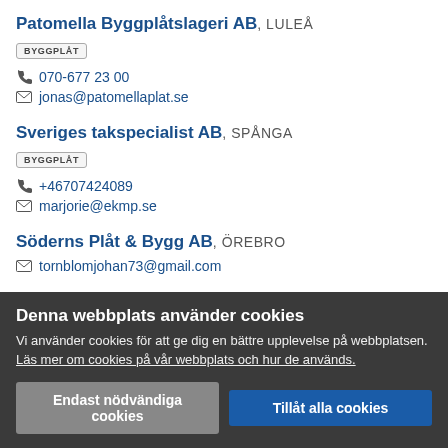Patomella Byggplåtslageri AB, LULEÅ
BYGGPLÅT
070-677 23 00
jonas@patomellaplat.se
Sveriges takspecialist AB, SPÅNGA
BYGGPLÅT
+46707424089
marjorie@ekmp.se
Söderns Plåt & Bygg AB, ÖREBRO
tornblomjohan73@gmail.com
Top Plåtslageri Stockholm AB, JÄRFÄLLA
Denna webbplats använder cookies
Vi använder cookies för att ge dig en bättre upplevelse på webbplatsen. Läs mer om cookies på vår webbplats och hur de används.
Endast nödvändiga cookies
Tillåt alla cookies